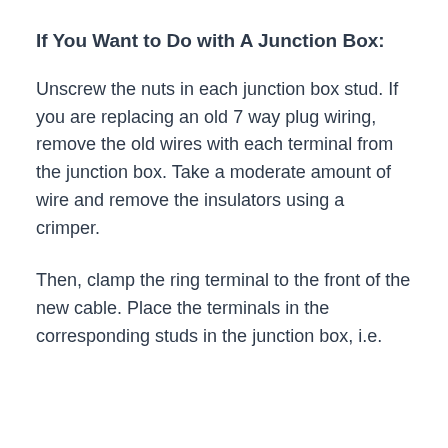If You Want to Do with A Junction Box:
Unscrew the nuts in each junction box stud. If you are replacing an old 7 way plug wiring, remove the old wires with each terminal from the junction box. Take a moderate amount of wire and remove the insulators using a crimper.
Then, clamp the ring terminal to the front of the new cable. Place the terminals in the corresponding studs in the junction box, i.e.